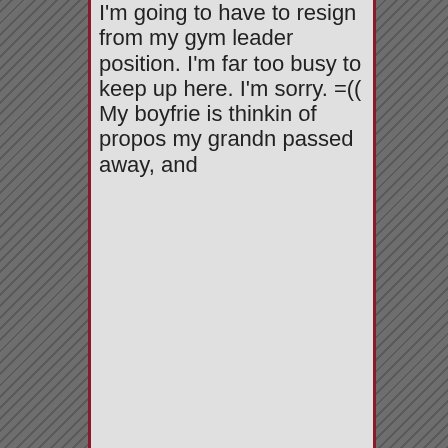I'm going to have to resign from my gym leader position. I'm far too busy to keep up here. I'm sorry. =(( My boyfriend is thinking of proposing my grandma passed away, and